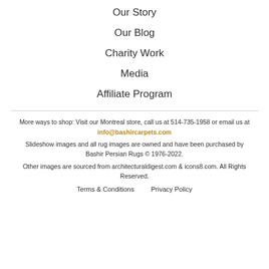Our Story
Our Blog
Charity Work
Media
Affiliate Program
More ways to shop: Visit our Montreal store, call us at 514-735-1958 or email us at info@bashircarpets.com
Slideshow images and all rug images are owned and have been purchased by Bashir Persian Rugs © 1976-2022.
Other images are sourced from architecturaldigest.com & icons8.com. All Rights Reserved.
Terms & Conditions    Privacy Policy